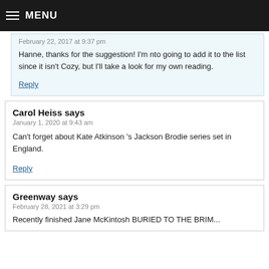MENU
February 22, 2017 at 9:37 pm
Hanne, thanks for the suggestion! I'm nto going to add it to the list since it isn't Cozy, but I'll take a look for my own reading.
Reply
Carol Heiss says
January 1, 2020 at 9:43 am
Can't forget about Kate Atkinson 's Jackson Brodie series set in England.
Reply
Greenway says
February 28, 2021 at 3:29 pm